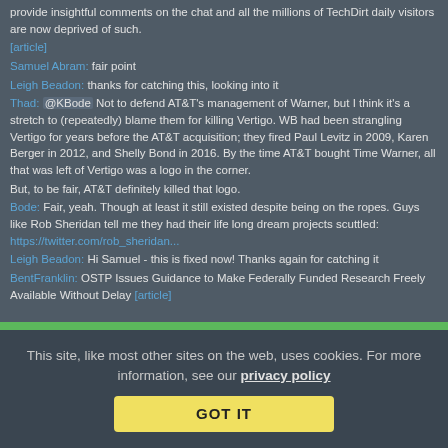provide insightful comments on the chat and all the millions of TechDirt daily visitors are now deprived of such.
[article]
Samuel Abram: fair point
Leigh Beadon: thanks for catching this, looking into it
Thad: @KBode Not to defend AT&T's management of Warner, but I think it's a stretch to (repeatedly) blame them for killing Vertigo. WB had been strangling Vertigo for years before the AT&T acquisition; they fired Paul Levitz in 2009, Karen Berger in 2012, and Shelly Bond in 2016. By the time AT&T bought Time Warner, all that was left of Vertigo was a logo in the corner.
But, to be fair, AT&T definitely killed that logo.
Bode: Fair, yeah. Though at least it still existed despite being on the ropes. Guys like Rob Sheridan tell me they had their life long dream projects scuttled: https://twitter.com/rob_sheridan...
Leigh Beadon: Hi Samuel - this is fixed now! Thanks again for catching it
BentFranklin: OSTP Issues Guidance to Make Federally Funded Research Freely Available Without Delay [article]
This site, like most other sites on the web, uses cookies. For more information, see our privacy policy
GOT IT